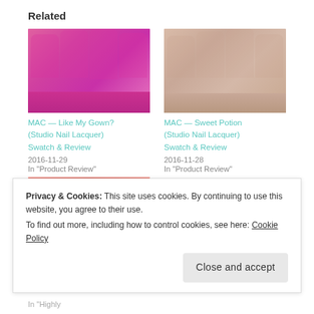Related
[Figure (photo): Close-up photo of hand with hot pink/magenta nail polish (MAC Like My Gown Studio Nail Lacquer) with bottle visible]
MAC — Like My Gown? (Studio Nail Lacquer) Swatch & Review
2016-11-29
In "Product Review"
[Figure (photo): Close-up photo of hand with nude/beige nail polish (MAC Sweet Potion Studio Nail Lacquer) with bottle visible]
MAC — Sweet Potion (Studio Nail Lacquer) Swatch & Review
2016-11-28
In "Product Review"
[Figure (photo): Close-up photo of hand with red nail polish with bottle visible]
In "Highly
Privacy & Cookies: This site uses cookies. By continuing to use this website, you agree to their use.
To find out more, including how to control cookies, see here: Cookie Policy
Close and accept